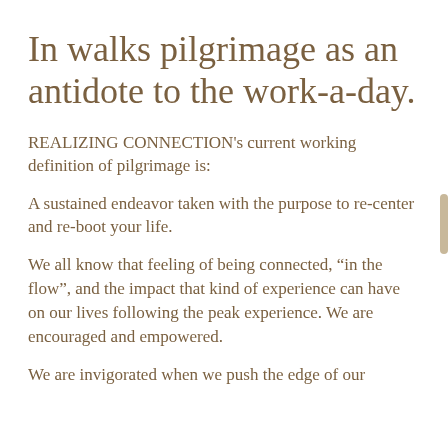In walks pilgrimage as an antidote to the work-a-day.
REALIZING CONNECTION's current working definition of pilgrimage is:
A sustained endeavor taken with the purpose to re-center and re-boot your life.
We all know that feeling of being connected, “in the flow”, and the impact that kind of experience can have on our lives following the peak experience. We are encouraged and empowered.
We are invigorated when we push the edge of our